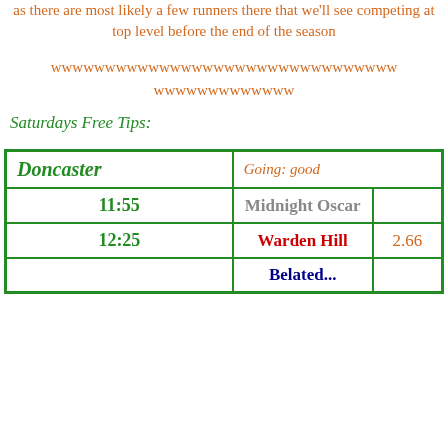as there are most likely a few runners there that we'll see competing at top level before the end of the season
wwwwwwwwwwwwwwwwwwwwwwwwwwwwwwww wwwwwwwwwwwww
Saturdays Free Tips:
| Doncaster | Going: good |  |
| --- | --- | --- |
| 11:55 | Midnight Oscar |  |
| 12:25 | Warden Hill | 2.66 |
|  | Belated... |  |